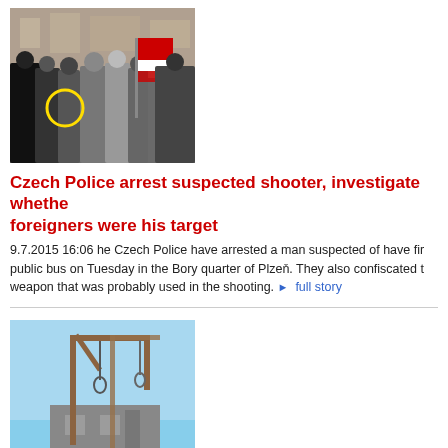[Figure (photo): Crowd of people at a public demonstration, with a yellow circle highlighting something in the crowd and a flag visible]
Czech Police arrest suspected shooter, investigate whether foreigners were his target
9.7.2015 16:06 he Czech Police have arrested a man suspected of have firing at a public bus on Tuesday in the Bory quarter of Plzeň. They also confiscated the weapon that was probably used in the shooting. ▶ full story
[Figure (photo): A wooden gallows structure against a blue sky with buildings in the background]
Commentary: Actually, the Czech Police do not "know" that a gallows has no place in a democracy
6.7.2015 19:32 Police officers do not have an easy job and Czech Interior Minister Milan Chovanec evidently does not know much about their work. Just imagine someone bringing a mock-up of a gallows to a demonstration, as occurred on Wednesday. ▶ full story